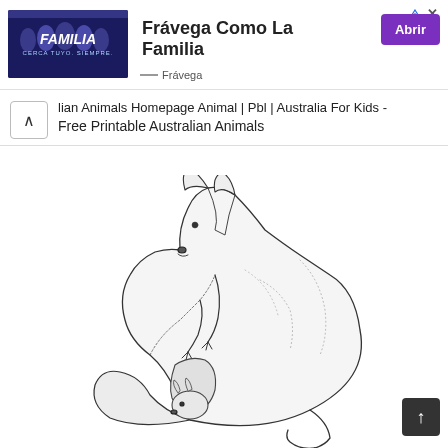[Figure (screenshot): Advertisement banner for Frávega featuring a group photo with 'FAMILIA' text, tagline 'Frávega Como La Familia' in bold, and a purple 'Abrir' button. Below the ad image is a source line showing 'Frávega'.]
lian Animals Homepage Animal | Pbl | Australia For Kids - Free Printable Australian Animals
[Figure (illustration): Black and white line drawing of a kangaroo with a joey visible in its pouch. The kangaroo is shown in profile facing left, with detailed crosshatching and linework. The joey's head is visible peeking out from the pouch.]